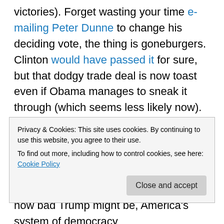victories). Forget wasting your time e-mailing Peter Dunne to change his deciding vote, the thing is goneburgers. Clinton would have passed it for sure, but that dodgy trade deal is now toast even if Obama manages to sneak it through (which seems less likely now).
2. Power to the marginalised people. Trump won partly because large numbers of blue collared workers and those without a college education came out to vote who never had before. He mobilised an often derided and
Privacy & Cookies: This site uses cookies. By continuing to use this website, you agree to their use.
To find out more, including how to control cookies, see here: Cookie Policy
now bad Trump might be, America's system of democracy